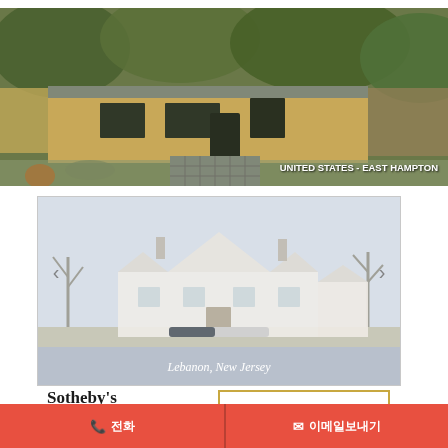[Figure (photo): Exterior photo of a mid-century modern ranch house with wood siding, large glass doors, lush green trees in background, driveway of slate/stone pavers. Location label: UNITED STATES - EAST HAMPTON]
UNITED STATES - EAST HAMPTON
[Figure (photo): Exterior photo of a colonial-style house in Lebanon, New Jersey, shown in a slideshow card with navigation arrows and progress indicator. Location label: Lebanon, New Jersey]
Lebanon, New Jersey
Sotheby's
전화
이메일보내기